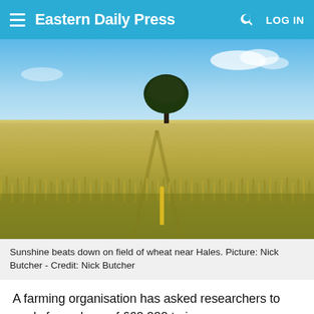Eastern Daily Press — LOG IN
[Figure (photo): A field of wheat under blue sky with a single tree on the horizon near Hales, sunlight illuminating the crop in the foreground.]
Sunshine beats down on field of wheat near Hales. Picture: Nick Butcher - Credit: Nick Butcher
A farming organisation has asked researchers to apply for a share of £60,000 to improve understanding of the risk of barley yellow dwarf virus (BYDV) in cereals.